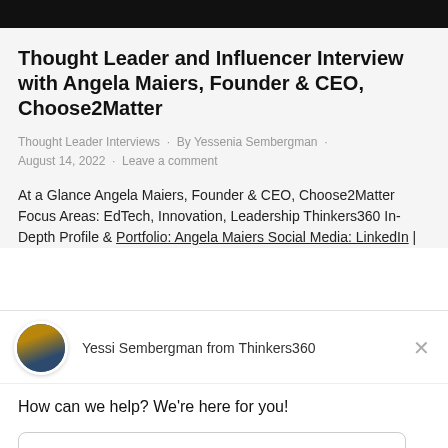Thought Leader and Influencer Interview with Angela Maiers, Founder & CEO, Choose2Matter
Thought Leader Interviews · By Yessenia Sembergman · August 14, 2022 · Leave a comment
At a Glance Angela Maiers, Founder & CEO, Choose2Matter Focus Areas: EdTech, Innovation, Leadership Thinkers360 In-Depth Profile & Portfolio: Angela Maiers Social Media: LinkedIn |
[Figure (screenshot): Chat widget overlay from Drift showing Yessi Sembergman from Thinkers360, with greeting 'How can we help? We're here for you!' and a reply text input field, with 'Chat by Drift' footer]